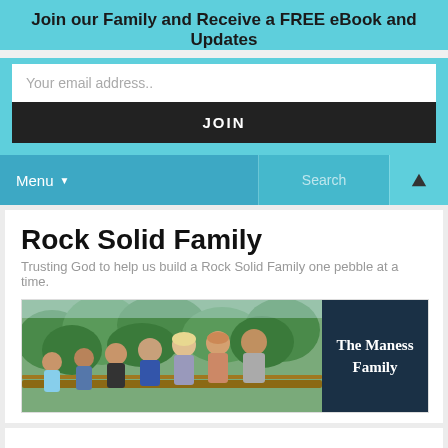Join our Family and Receive a FREE eBook and Updates
Your email address..
JOIN
Menu ▼  Search
Rock Solid Family
Trusting God to help us build a Rock Solid Family one pebble at a time.
[Figure (photo): The Maness Family photo showing a group of people standing at a wooden fence in front of green trees, with a dark navy panel on the right reading 'The Maness Family']
Conquering the Chore Monster
Posted by Anastacia Maness